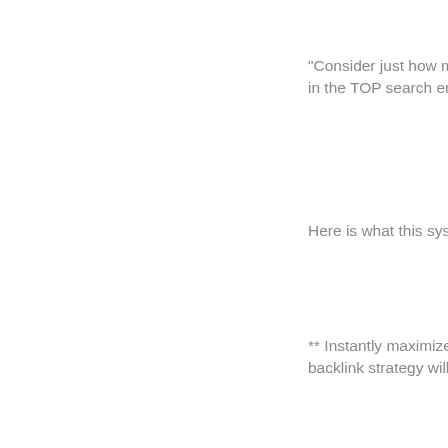"Consider just how much in the TOP search engine
Here is what this system w
** Instantly maximize expo backlink strategy will spre
** Build brand awareness engines for the most relev
** Automate all of your ma websites for months, ever you launch!
Ever wonder how your co competitive keyword phra